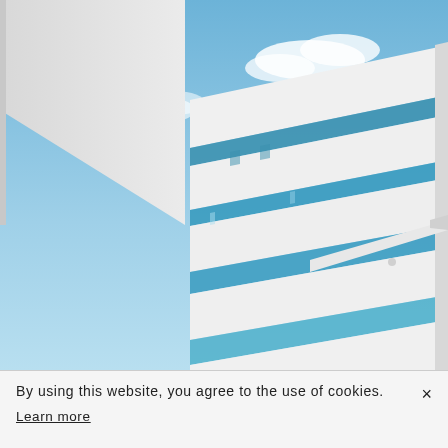[Figure (photo): Low-angle photograph looking up at a modern white commercial building with horizontal banded facade, blue glass windows, and blue sky with light clouds in the background. A second white building is partially visible in the upper left.]
By using this website, you agree to the use of cookies. Learn more